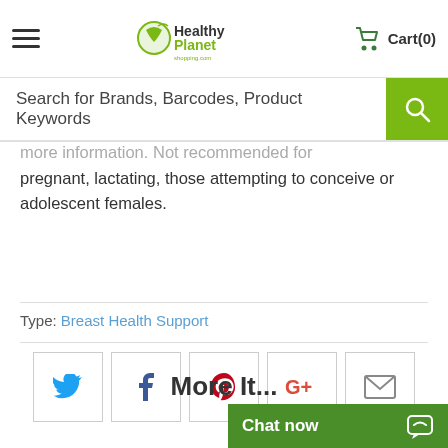HealthyPlanet shopping.com — Cart(0)
Search for Brands, Barcodes, Product Keywords
more information. Not recommended for pregnant, lactating, those attempting to conceive or adolescent females.
Type: Breast Health Support
[Figure (screenshot): Social sharing buttons: Twitter, Facebook, Pinterest, Google+, Email]
Chat now